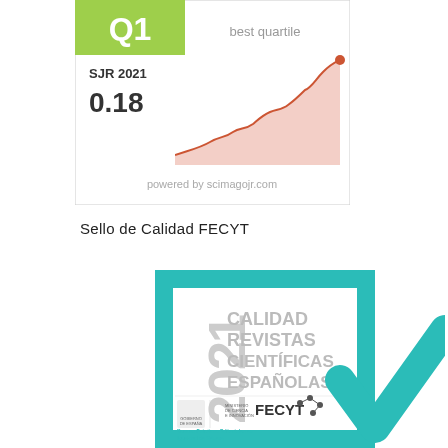[Figure (other): SCImago Journal Rank widget showing Q1 best quartile badge, SJR 2021 value of 0.18, and a rising orange area chart. Powered by scimagojr.com.]
Sello de Calidad FECYT
[Figure (logo): FECYT Sello de Calidad 2021 badge. Teal/turquoise square with white inner square containing text '2021 CALIDAD REVISTAS CIENTÍFICAS ESPAÑOLAS' with logos of Gobierno de España, Ministerio de Ciencia e Innovación, and FECYT. A large teal checkmark overlaps the bottom-right corner. Text at bottom: 'Buenas Prácticas Editoriales en Igualdad de Género'.]